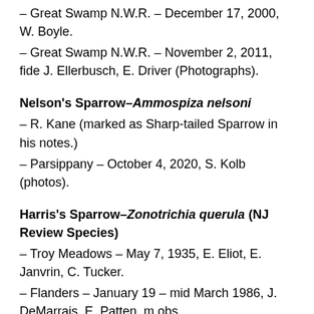– Great Swamp N.W.R. – December 17, 2000, W. Boyle.
– Great Swamp N.W.R. – November 2, 2011, fide J. Ellerbusch, E. Driver (Photographs).
Nelson's Sparrow–Ammospiza nelsoni
– R. Kane (marked as Sharp-tailed Sparrow in his notes.)
– Parsippany – October 4, 2020, S. Kolb (photos).
Harris's Sparrow–Zonotrichia querula (NJ Review Species)
– Troy Meadows – May 7, 1935, E. Eliot, E. Janvrin, C. Tucker.
– Flanders – January 19 – mid March 1986, J. DeMarrais, E. Patten, m.obs.
– Mendham – December 8, 1989 – mid March 1990, J. Graham, D. Harrison, m.obs.
Golden-crowned Sparrow–Zonotrichia atricapilla (NJ